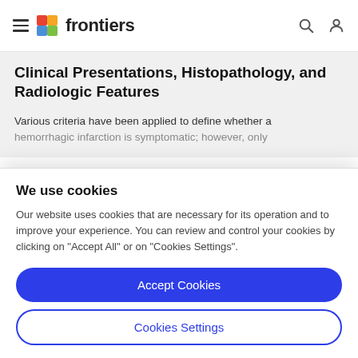frontiers
Clinical Presentations, Histopathology, and Radiologic Features
Various criteria have been applied to define whether a hemorrhagic infarction is symptomatic; however, only
We use cookies
Our website uses cookies that are necessary for its operation and to improve your experience. You can review and control your cookies by clicking on "Accept All" or on "Cookies Settings".
Accept Cookies
Cookies Settings